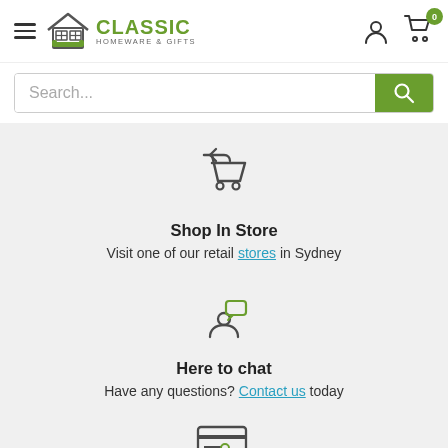Classic Homeware & Gifts — navigation header with logo, hamburger menu, account icon, cart (0)
Search...
[Figure (illustration): Shop cart icon with return arrow (shop in store icon)]
Shop In Store
Visit one of our retail stores in Sydney
[Figure (illustration): Person with speech bubble (here to chat icon)]
Here to chat
Have any questions? Contact us today
[Figure (illustration): Credit card with lock (secure payment icon)]